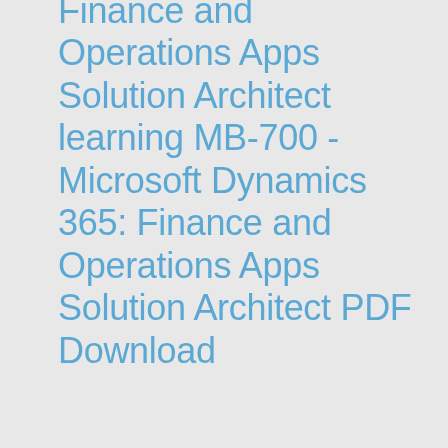Finance and Operations Apps Solution Architect learning MB-700 - Microsoft Dynamics 365: Finance and Operations Apps Solution Architect PDF Download